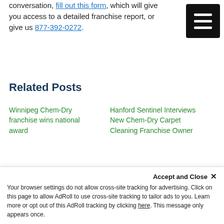conversation, fill out this form, which will give you access to a detailed franchise report, or give us 877-392-0272.
[Figure (other): Black menu/hamburger button with three white horizontal lines]
Related Posts
Winnipeg Chem-Dry franchise wins national award
Hanford Sentinel Interviews New Chem-Dry Carpet Cleaning Franchise Owner
Chem-Dry Carpet Cleaning Franchise Average Revenue Up 5% in 2014
[Figure (photo): A person in a blue shirt standing in front of a green Chem-Dry branded van with oval logo reading 'ChemDry. Drier. Cleaner. Healthier.']
Accept and Close ✕
Your browser settings do not allow cross-site tracking for advertising. Click on this page to allow AdRoll to use cross-site tracking to tailor ads to you. Learn more or opt out of this AdRoll tracking by clicking here. This message only appears once.